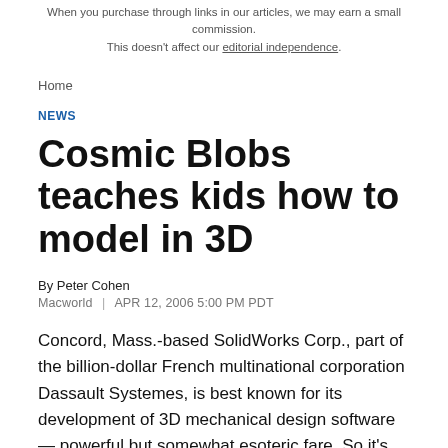When you purchase through links in our articles, we may earn a small commission. This doesn't affect our editorial independence.
Home
NEWS
Cosmic Blobs teaches kids how to model in 3D
By Peter Cohen
Macworld  |  APR 12, 2006 5:00 PM PDT
Concord, Mass.-based SolidWorks Corp., part of the billion-dollar French multinational corporation Dassault Systemes, is best known for its development of 3D mechanical design software — powerful but somewhat esoteric fare. So it's